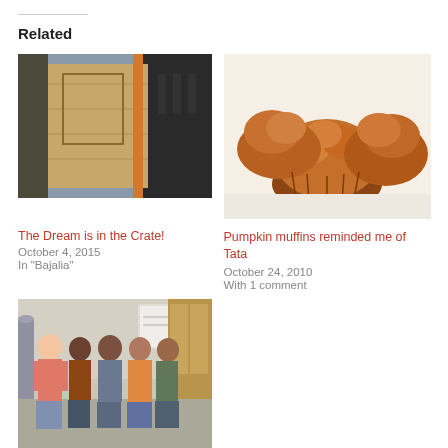Related
[Figure (photo): Photo of wooden crates/boards stacked against a wall or structure]
The Dream is in the Crate!
October 4, 2015
In "Bajalia"
[Figure (photo): Photo of pumpkin muffins on a white surface]
Pumpkin muffins reminded me of Tata
October 24, 2010
With 1 comment
[Figure (photo): Group photo of five people standing together indoors]
It 's All in the Translation
August 16, 2006
In "Bajalia"